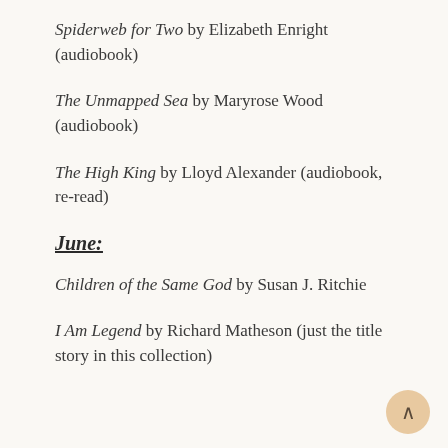Spiderweb for Two by Elizabeth Enright (audiobook)
The Unmapped Sea by Maryrose Wood (audiobook)
The High King by Lloyd Alexander (audiobook, re-read)
June:
Children of the Same God by Susan J. Ritchie
I Am Legend by Richard Matheson (just the title story in this collection)